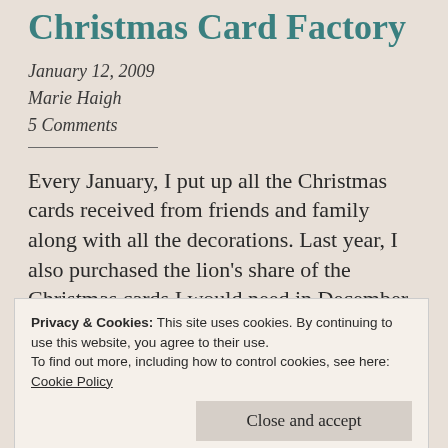Christmas Card Factory
January 12, 2009
Marie Haigh
5 Comments
Every January, I put up all the Christmas cards received from friends and family along with all the decorations. Last year, I also purchased the lion's share of the Christmas cards I would need in December, so I wouldn't have to do any
Privacy & Cookies: This site uses cookies. By continuing to use this website, you agree to their use.
To find out more, including how to control cookies, see here:
Cookie Policy
Close and accept
cards from tea bags.